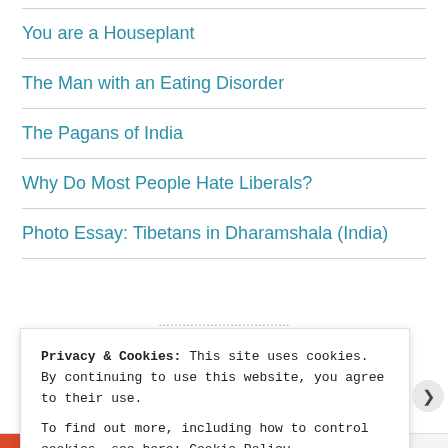You are a Houseplant
The Man with an Eating Disorder
The Pagans of India
Why Do Most People Hate Liberals?
Photo Essay: Tibetans in Dharamshala (India)
Privacy & Cookies: This site uses cookies. By continuing to use this website, you agree to their use.
To find out more, including how to control cookies, see here: Cookie Policy
Close and accept